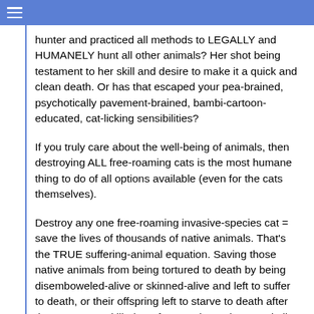hunter and practiced all methods to LEGALLY and HUMANELY hunt all other animals? Her shot being testament to her skill and desire to make it a quick and clean death. Or has that escaped your pea-brained, psychotically pavement-brained, bambi-cartoon-educated, cat-licking sensibilities?
If you truly care about the well-being of animals, then destroying ALL free-roaming cats is the most humane thing to do of all options available (even for the cats themselves).
Destroy any one free-roaming invasive-species cat = save the lives of thousands of native animals. That's the TRUE suffering-animal equation. Saving those native animals from being tortured to death by being disemboweled-alive or skinned-alive and left to suffer to death, or their offspring left to starve to death after the parents are killed or after cats have destroyed all of their ONLY food-sources — and all done to NATIVE animals that actually belong here by just ONE invasive-species cat.